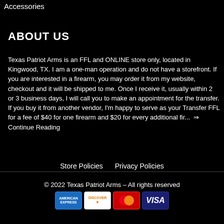Accessories
ABOUT US
Texas Patriot Arms is an FFL and ONLINE store only, located in Kingwood, TX. I am a one-man operation and do not have a storefront. If you are interested in a firearm, you may order it from my website, checkout and it will be shipped to me. Once I receive it, usually within 2 or 3 business days, I will call you to make an appointment for the transfer. If you buy it from another vendor, I'm happy to serve as your Transfer FFL for a fee of $40 for one firearm and $20 for every additional fir...  ⇒ Continue Reading
Store Policies   Privacy Policies
© 2022 Texas Patriot Arms – All rights reserved